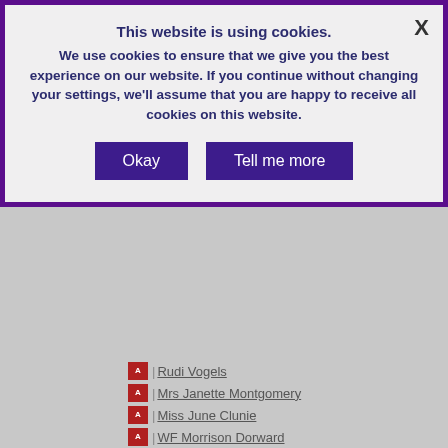This website is using cookies. We use cookies to ensure that we give you the best experience on our website. If you continue without changing your settings, we'll assume that you are happy to receive all cookies on this website.
Rudi Vogels
Mrs Janette Montgomery
Miss June Clunie
WF Morrison Dorward
General Medical Council
Supplementary Evidence
The Lord Advocate
Anscombe Bioethics Centre
Doctors for Assisted Suicide
Free Church of Scotland (Continu…
Lydia M. Dorward
Iain C Kerr
Evidence Requested by Committee on Ch…
Professor Pamela R Ferguson
Professor James Chalmers
My Life, My Death, My Choice
The 415 individuals listed below all sent ic…